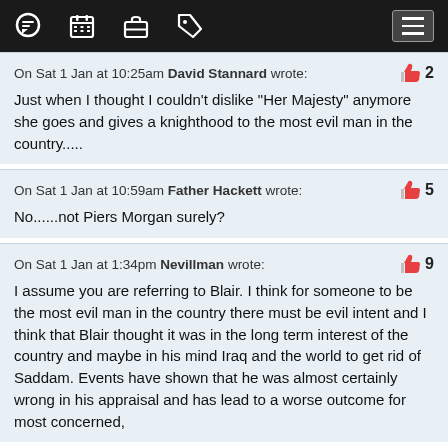Navigation bar with icons: chat, calendar, briefcase, tag, menu
On Sat 1 Jan at 10:25am David Stannard wrote: [2 likes]
Just when I thought I couldn't dislike "Her Majesty" anymore she goes and gives a knighthood to the most evil man in the country.....
On Sat 1 Jan at 10:59am Father Hackett wrote: [5 likes]
No......not Piers Morgan surely?
On Sat 1 Jan at 1:34pm Nevillman wrote: [9 likes]
I assume you are referring to Blair. I think for someone to be the most evil man in the country there must be evil intent and I think that Blair thought it was in the long term interest of the country and maybe in his mind Iraq and the world to get rid of Saddam. Events have shown that he was almost certainly wrong in his appraisal and has lead to a worse outcome for most concerned,